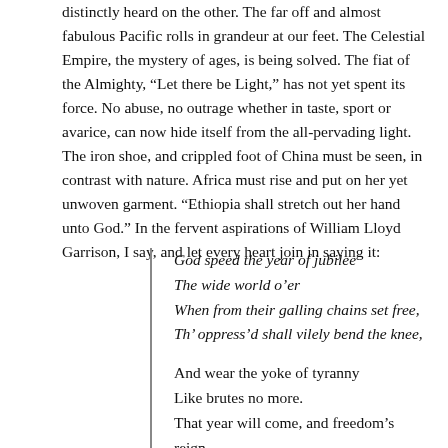distinctly heard on the other. The far off and almost fabulous Pacific rolls in grandeur at our feet. The Celestial Empire, the mystery of ages, is being solved. The fiat of the Almighty, “Let there be Light,” has not yet spent its force. No abuse, no outrage whether in taste, sport or avarice, can now hide itself from the all-pervading light. The iron shoe, and crippled foot of China must be seen, in contrast with nature. Africa must rise and put on her yet unwoven garment. “Ethiopia shall stretch out her hand unto God.” In the fervent aspirations of William Lloyd Garrison, I say, and let every heart join in saying it:
God speed the year of jubilee
The wide world o’er
When from their galling chains set free,
Th’ oppress’d shall vilely bend the knee,

And wear the yoke of tyranny
Like brutes no more.
That year will come, and freedom’s reign,
To man his plundered fights again
Restore.

God speed the day when human blood